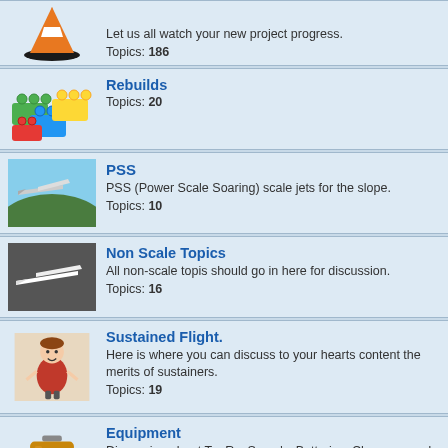Topics: 186
Rebuilds
Topics: 20
PSS
PSS (Power Scale Soaring) scale jets for the slope.
Topics: 10
Non Scale Topics
All non-scale topis should go in here for discussion.
Topics: 16
Sustained Flight.
Here is where you can discuss to your hearts content the merits of sustainers.
Topics: 19
Equipment
Discussion about Tx, Rx, Servo's, Batteries, Chargers, and all the other things we like to talk about..
Moderator: VinceC
Topics: 163
Archived Build Threads
Build threads from the old forum.
Topics: 68